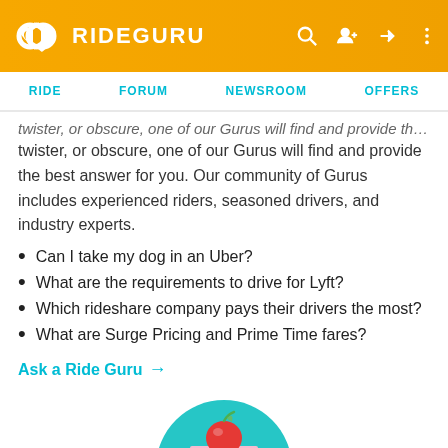RIDEGURU — RIDE | FORUM | NEWSROOM | OFFERS
twister, or obscure, one of our Gurus will find and provide the best answer for you. Our community of Gurus includes experienced riders, seasoned drivers, and industry experts.
Can I take my dog in an Uber?
What are the requirements to drive for Lyft?
Which rideshare company pays their drivers the most?
What are Surge Pricing and Prime Time fares?
Ask a Ride Guru →
[Figure (illustration): A teal circular illustration with a red apple on top of stacked books, partially visible at the bottom of the page.]